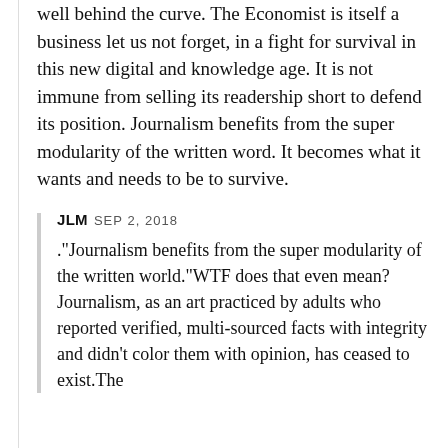well behind the curve. The Economist is itself a business let us not forget, in a fight for survival in this new digital and knowledge age. It is not immune from selling its readership short to defend its position. Journalism benefits from the super modularity of the written word. It becomes what it wants and needs to be to survive.
JLM SEP 2, 2018 ."Journalism benefits from the super modularity of the written world."WTF does that even mean? Journalism, as an art practiced by adults who reported verified, multi-sourced facts with integrity and didn't color them with opinion, has ceased to exist.The